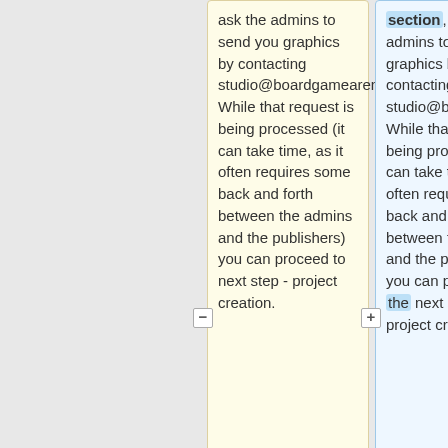ask the admins to send you graphics by contacting studio@boardgamearena.com. While that request is being processed (it can take time, as it often requires some back and forth between the admins and the publishers) you can proceed to next step - project creation.
section, ask the admins to send you graphics by contacting studio@boardgamearena.com. While that request is being processed (it can take time, as it often requires some back and forth between the admins and the publishers) you can proceed to the next step - project creation.
If you don't get original graphics you go to
If you don't get original graphics you go to